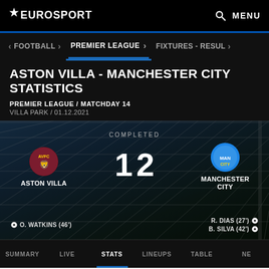EUROSPORT | MENU
FOOTBALL > PREMIER LEAGUE > FIXTURES - RESUL >
ASTON VILLA - MANCHESTER CITY STATISTICS
PREMIER LEAGUE / MATCHDAY 14
VILLA PARK / 01.12.2021
[Figure (infographic): Match result display with stadium background showing goal net. Aston Villa vs Manchester City. COMPLETED. Score: 1 - 2. Scorers: O. WATKINS (46') for Aston Villa; R. DIAS (27') and B. SILVA (42') for Manchester City.]
SUMMARY  LIVE  STATS  LINEUPS  TABLE  NE
ADVERTISEMENT